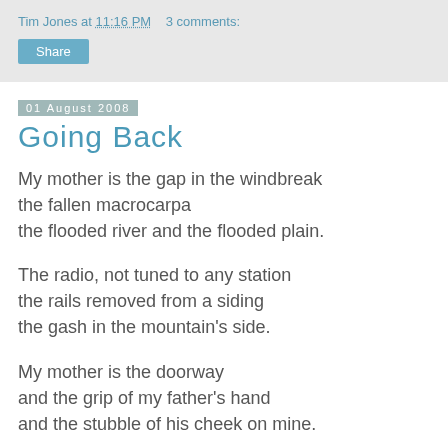Tim Jones at 11:16 PM   3 comments:
Share
01 August 2008
Going Back
My mother is the gap in the windbreak
the fallen macrocarpa
the flooded river and the flooded plain.
The radio, not tuned to any station
the rails removed from a siding
the gash in the mountain's side.
My mother is the doorway
and the grip of my father's hand
and the stubble of his cheek on mine.
The missing face in the kitchen